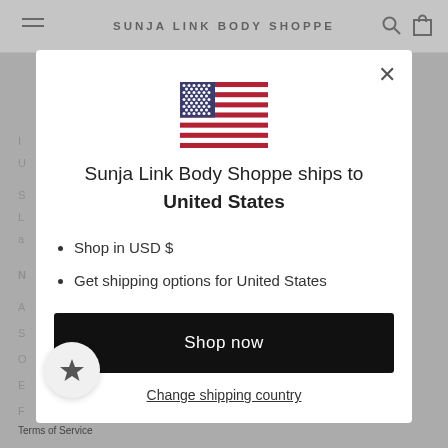SUNJA LINK BODY SHOPPE
[Figure (screenshot): US flag emoji/icon displayed in the modal dialog]
Sunja Link Body Shoppe ships to United States
Shop in USD $
Get shipping options for United States
Shop now
Change shipping country
Terms of Service